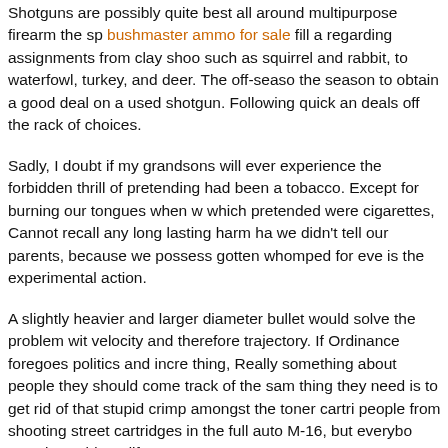Shotguns are possibly quite best all around multipurpose firearm the sp... bushmaster ammo for sale fill a regarding assignments from clay shoo... such as squirrel and rabbit, to waterfowl, turkey, and deer. The off-seaso... the season to obtain a good deal on a used shotgun. Following quick an... deals off the rack of choices.
Sadly, I doubt if my grandsons will ever experience the forbidden thrill of... pretending had been a tobacco. Except for burning our tongues when w... which pretended were cigarettes, Cannot recall any long lasting harm ha... we didn't tell our parents, because we possess gotten whomped for eve... is the experimental action.
A slightly heavier and larger diameter bullet would solve the problem wit... velocity and therefore trajectory. If Ordinance foregoes politics and incre... thing, Really something about people they should come track of the sam... thing they need is to get rid of that stupid crimp amongst the toner cartri... people from shooting street cartridges in the full auto M-16, but everybo... easy it would modify.
Cricket Firearms, with their Chipmunk and Keystone distinct single shot ... contender for a child's first firearm. Their.22 rimfire shoot either shorts, l... a 12-inch length of pull, are only 30.5-inches overall, and weight 2.5-po... actually handier and lighter than most pellet shot guns. They have a no b... these tiny rifles including along with pink laminated wood stocks for the...